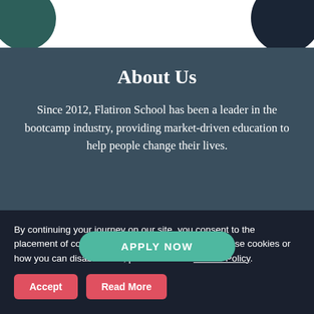[Figure (illustration): White header bar with two decorative circles: a dark teal circle on the top-left and a dark navy circle on the top-right, partially cropped]
About Us
Since 2012, Flatiron School has been a leader in the bootcamp industry, providing market-driven education to help people change their lives.
[Figure (other): Teal rounded rectangle button partially visible, labeled APPLY NOW]
By continuing your journey on our site, you consent to the placement of cookies. To learn more about how we use cookies or how you can disable them, please see our Cookie Policy.
Accept
Read More